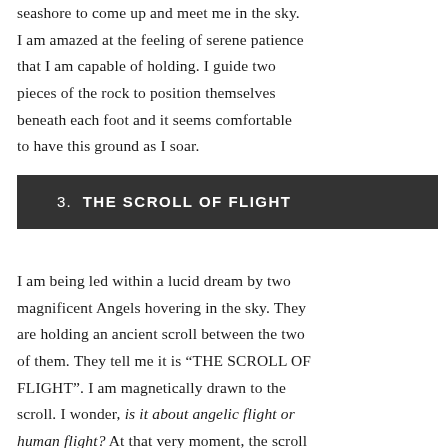seashore to come up and meet me in the sky. I am amazed at the feeling of serene patience that I am capable of holding. I guide two pieces of the rock to position themselves beneath each foot and it seems comfortable to have this ground as I soar.
3.  THE SCROLL OF FLIGHT
I am being led within a lucid dream by two magnificent Angels hovering in the sky. They are holding an ancient scroll between the two of them. They tell me it is “THE SCROLL OF FLIGHT”. I am magnetically drawn to the scroll. I wonder, is it about angelic flight or human flight? At that very moment, the scroll